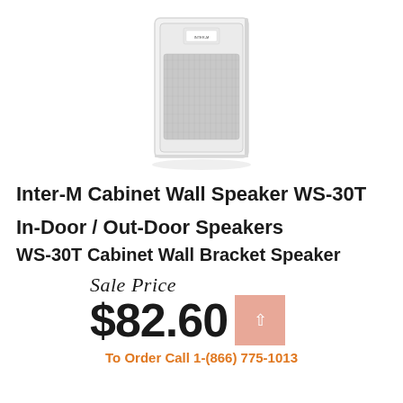[Figure (photo): White cabinet wall bracket speaker (Inter-M WS-30T), rectangular box shape with speaker grille on front, shown against white background]
Inter-M Cabinet Wall Speaker WS-30T
In-Door / Out-Door Speakers
WS-30T Cabinet Wall Bracket Speaker
Sale Price
$82.60
To Order Call 1-(866) 775-1013